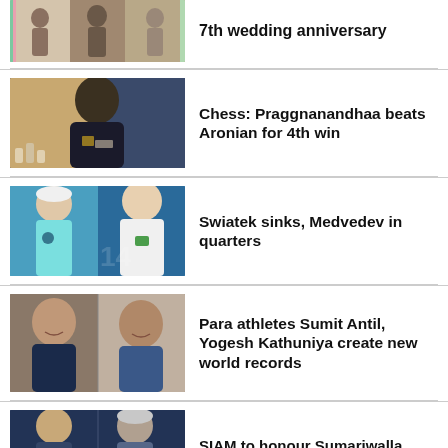[Figure (photo): People standing near a colourful backdrop — 7th wedding anniversary story]
7th wedding anniversary
[Figure (photo): Young chess player Praggnanandhaa in a black jacket with chess pieces in background]
Chess: Praggnanandhaa beats Aronian for 4th win
[Figure (photo): Iga Swiatek and Daniil Medvedev composite photo on tennis court]
Swiatek sinks, Medvedev in quarters
[Figure (photo): Para athletes Sumit Antil and Yogesh Kathuniya composite photo]
Para athletes Sumit Antil, Yogesh Kathuniya create new world records
[Figure (photo): Two men in formal attire — SIAM story]
SIAM to honour Sumariwalla